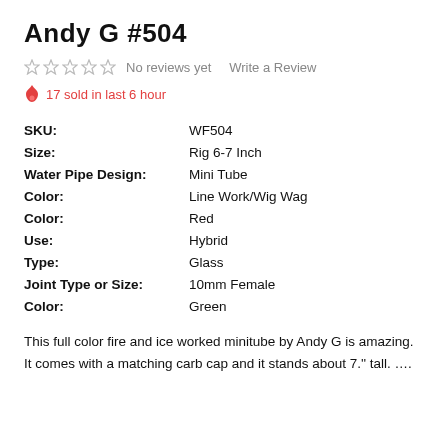Andy G #504
★ ★ ★ ★ ★  No reviews yet    Write a Review
🔥 17 sold in last 6 hour
| SKU: | WF504 |
| Size: | Rig 6-7 Inch |
| Water Pipe Design: | Mini Tube |
| Color: | Line Work/Wig Wag |
| Color: | Red |
| Use: | Hybrid |
| Type: | Glass |
| Joint Type or Size: | 10mm Female |
| Color: | Green |
This full color fire and ice worked minitube by Andy G is amazing. It comes with a matching carb cap and it stands about 7.'' tall. ….